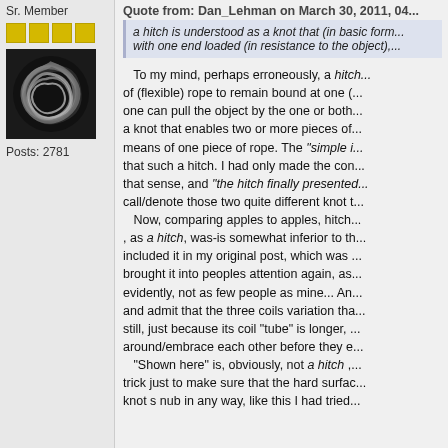Sr. Member
[Figure (photo): Avatar image showing an intricate knot on a dark background]
Posts: 2781
Quote from: Dan_Lehman on March 30, 2011, 04...
a hitch is understood as a knot that (in basic form...) with one end loaded (in resistance to the object),...
To my mind, perhaps erroneously, a hitch... of (flexible) rope to remain bound at one (... one can pull the object by the one or both... a knot that enables two or more pieces of ... means of one piece of rope. The "simple i... that such a hitch. I had only made the con... that sense, and "the hitch finally presented... call/denote those two quite different knot t... Now, comparing apples to apples, hitch... , as a hitch, was-is somewhat inferior to th... included it in my original post, which was ... brought it into peoples attention again, as... evidently, not as few people as mine... An... and admit that the three coils variation tha... still, just because its coil "tube" is longer, ... around/embrace each other before they e... "Shown here" is, obviously, not a hitch ,... trick just to make sure that the hard surfa... knot s nub in any way, like this I had tried ...